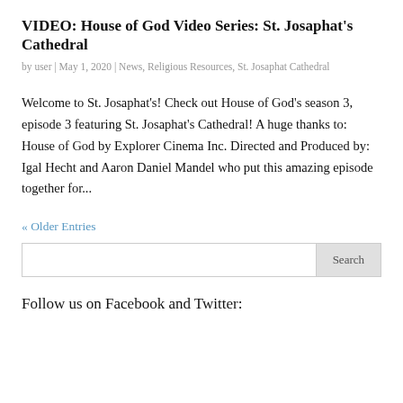VIDEO: House of God Video Series: St. Josaphat's Cathedral
by user | May 1, 2020 | News, Religious Resources, St. Josaphat Cathedral
Welcome to St. Josaphat's! Check out House of God's season 3, episode 3 featuring St. Josaphat's Cathedral! A huge thanks to: House of God by Explorer Cinema Inc. Directed and Produced by: Igal Hecht and Aaron Daniel Mandel who put this amazing episode together for...
« Older Entries
Follow us on Facebook and Twitter: